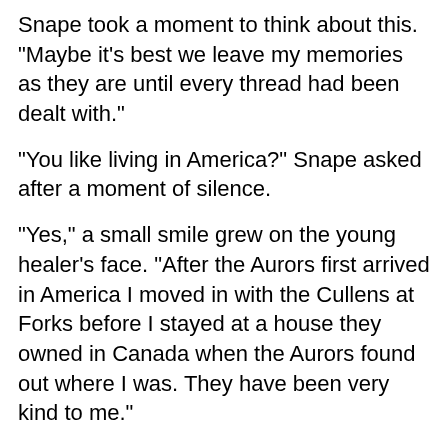Snape took a moment to think about this. "Maybe it's best we leave my memories as they are until every thread had been dealt with."
"You like living in America?" Snape asked after a moment of silence.
"Yes," a small smile grew on the young healer's face. "After the Aurors first arrived in America I moved in with the Cullens at Forks before I stayed at a house they owned in Canada when the Aurors found out where I was. They have been very kind to me."
"It seems as if you've found your family," Snape observed.
"Yes, I believe I have. I mean I see Esme as a mother figure…or at least how I'd think a mother should act. She's been very helpful ever since I met her. She's helped me out with C.J. a lot. As has the rest of the family."